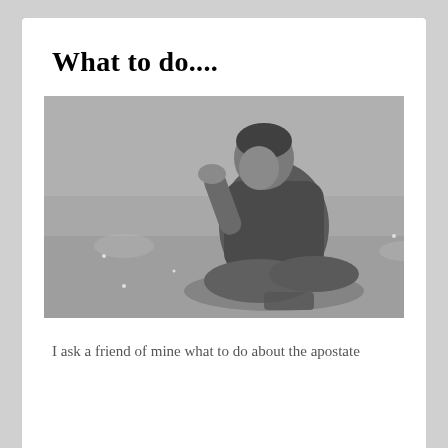What to do....
[Figure (photo): Black and white photograph of a young man sitting on grass with his head bowed down, hand raised to his forehead in a distressed or contemplative pose. He is wearing a cardigan sweater and trousers and appears to be in emotional distress.]
I ask a friend of mine what to do about the apostate